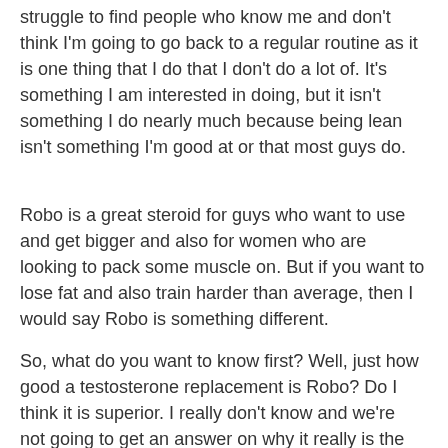struggle to find people who know me and don't think I'm going to go back to a regular routine as it is one thing that I do that I don't do a lot of. It's something I am interested in doing, but it isn't something I do nearly much because being lean isn't something I'm good at or that most guys do.
Robo is a great steroid for guys who want to use and get bigger and also for women who are looking to pack some muscle on. But if you want to lose fat and also train harder than average, then I would say Robo is something different.
So, what do you want to know first? Well, just how good a testosterone replacement is Robo? Do I think it is superior. I really don't know and we're not going to get an answer on why it really is the case because that